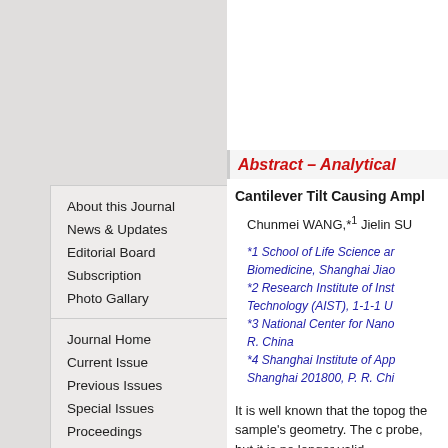About this Journal
News & Updates
Editorial Board
Subscription
Photo Gallary
Journal Home
Current Issue
Previous Issues
Special Issues
Proceedings
Hot Articles
Best Paper Award
Most Cited Paper Award
Abstract – Analytical
Cantilever Tilt Causing Ampl
Chunmei WANG,*1 Jielin SU
*1 School of Life Science and Biomedicine, Shanghai Jiao *2 Research Institute of Inst Technology (AIST), 1-1-1 U *3 National Center for Nano R. China *4 Shanghai Institute of App Shanghai 201800, P. R. Chi
It is well known that the topog the sample's geometry. The c probe, but it is no longer valid of the analytical sciences